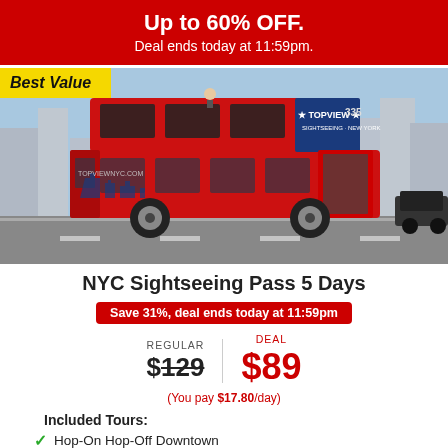Up to 60% OFF.
Deal ends today at 11:59pm.
[Figure (photo): Red double-decker TopView Sightseeing New York bus on a city street, with 'Best Value' yellow badge overlay]
NYC Sightseeing Pass 5 Days
Save 31%, deal ends today at 11:59pm
REGULAR $129 | DEAL $89
(You pay $17.80/day)
Included Tours:
Hop-On Hop-Off Downtown
Hop-On Hop-Off Uptown
Statue of Liberty Cruise